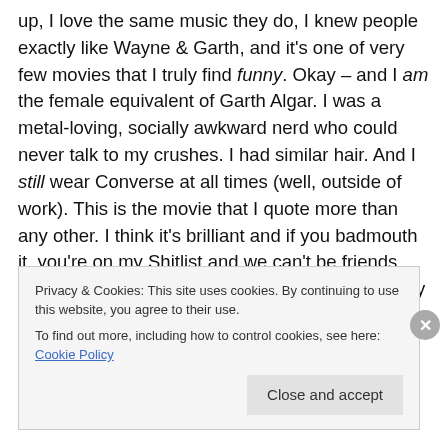up, I love the same music they do, I knew people exactly like Wayne & Garth, and it's one of very few movies that I truly find funny. Okay – and I am the female equivalent of Garth Algar. I was a metal-loving, socially awkward nerd who could never talk to my crushes. I had similar hair. And I still wear Converse at all times (well, outside of work). This is the movie that I quote more than any other. I think it's brilliant and if you badmouth it, you're on my Shitlist and we can't be friends. Anyway – I watched this once again the other day as my daughter loves it. She also loves Bill & Ted's Excellent Adventure. YES! Believe me –
Privacy & Cookies: This site uses cookies. By continuing to use this website, you agree to their use.
To find out more, including how to control cookies, see here: Cookie Policy
Close and accept